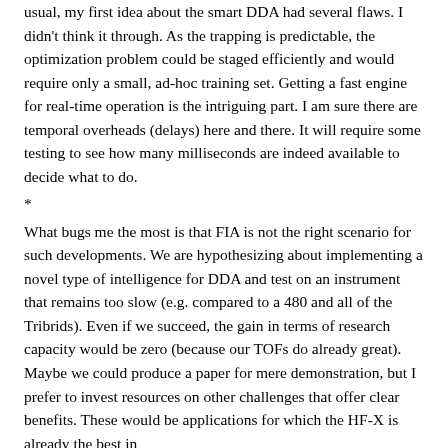usual, my first idea about the smart DDA had several flaws. I didn't think it through. As the trapping is predictable, the optimization problem could be staged efficiently and would require only a small, ad-hoc training set. Getting a fast engine for real-time operation is the intriguing part. I am sure there are temporal overheads (delays) here and there. It will require some testing to see how many milliseconds are indeed available to decide what to do.
*
What bugs me the most is that FIA is not the right scenario for such developments. We are hypothesizing about implementing a novel type of intelligence for DDA and test on an instrument that remains too slow (e.g. compared to a 480 and all of the Tribrids). Even if we succeed, the gain in terms of research capacity would be zero (because our TOFs do already great). Maybe we could produce a paper for mere demonstration, but I prefer to invest resources on other challenges that offer clear benefits. These would be applications for which the HF-X is already the best in